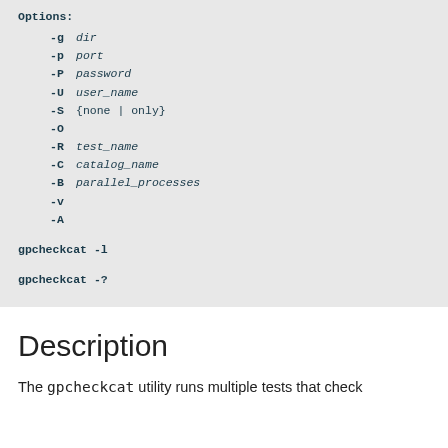Options:
  -g dir
  -p port
  -P password
  -U user_name
  -S {none | only}
  -O
  -R test_name
  -C catalog_name
  -B parallel_processes
  -v
  -A

gpcheckcat  -l

gpcheckcat -?
Description
The gpcheckcat utility runs multiple tests that check